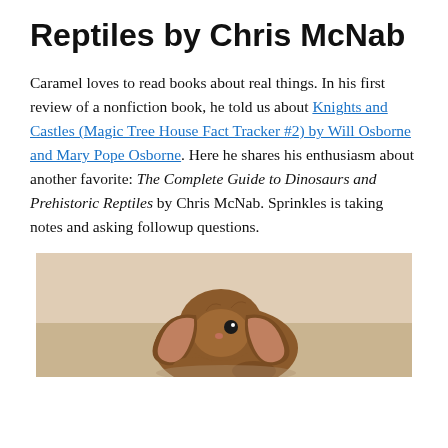Reptiles by Chris McNab
Caramel loves to read books about real things. In his first review of a nonfiction book, he told us about Knights and Castles (Magic Tree House Fact Tracker #2) by Will Osborne and Mary Pope Osborne. Here he shares his enthusiasm about another favorite: The Complete Guide to Dinosaurs and Prehistoric Reptiles by Chris McNab. Sprinkles is taking notes and asking followup questions.
[Figure (photo): A brown lop-eared rabbit photographed from above against a beige wall background.]